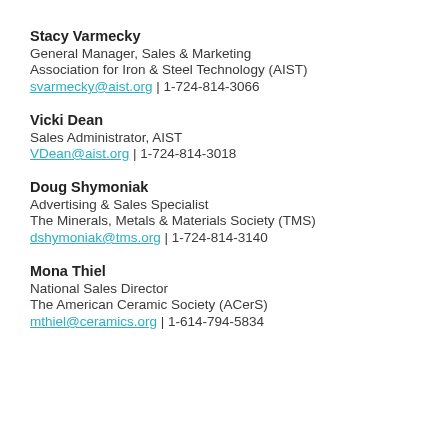Stacy Varmecky
General Manager, Sales & Marketing
Association for Iron & Steel Technology (AIST)
svarmecky@aist.org | 1-724-814-3066
Vicki Dean
Sales Administrator, AIST
VDean@aist.org | 1-724-814-3018
Doug Shymoniak
Advertising & Sales Specialist
The Minerals, Metals & Materials Society (TMS)
dshymoniak@tms.org | 1-724-814-3140
Mona Thiel
National Sales Director
The American Ceramic Society (ACerS)
mthiel@ceramics.org | 1-614-794-5834